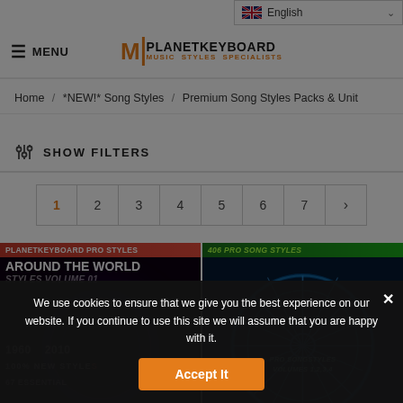English (language selector)
≡ MENU | PLANETKEYBOARD MUSIC STYLES SPECIALISTS
Home / *NEW!* Song Styles / Premium Song Styles Packs & Unit
⣿ SHOW FILTERS
Pagination: 1 2 3 4 5 6 7 >
[Figure (photo): Product card: PlanetKeyboard Pro Styles - Around The World Styles Volume 01, 1960-2010, 100% New Styles, 67 Essential]
[Figure (photo): Product card: 406 Pro Song Styles - Pro Song Styles Volumes 1,2,3,4]
We use cookies to ensure that we give you the best experience on our website. If you continue to use this site we will assume that you are happy with it.
Accept It